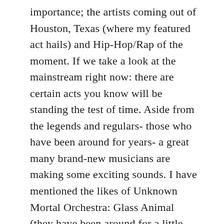importance; the artists coming out of Houston, Texas (where my featured act hails) and Hip-Hop/Rap of the moment. If we take a look at the mainstream right now: there are certain acts you know will be standing the test of time. Aside from the legends and regulars- those who have been around for years- a great many brand-new musicians are making some exciting sounds. I have mentioned the likes of Unknown Mortal Orchestra: Glass Animal (they have been around for a little bit) and Julie Jacklin are releasing music that gets straight into the brain; stuff that once heard, is hard to forget. I feel the mainstream/modern music stagnated a bit last year. Sure, there were some great releases: by and large, it was a rather lackluster affair.